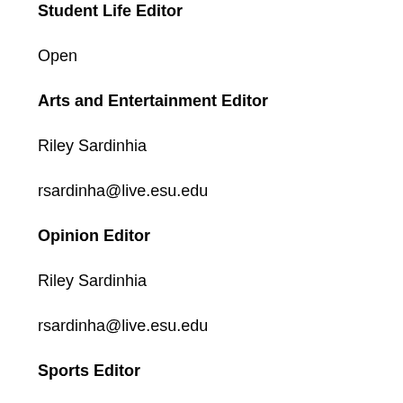Student Life Editor
Open
Arts and Entertainment Editor
Riley Sardinhia
rsardinha@live.esu.edu
Opinion Editor
Riley Sardinhia
rsardinha@live.esu.edu
Sports Editor
Telly Diallo
tdiallo@live.esu.edu